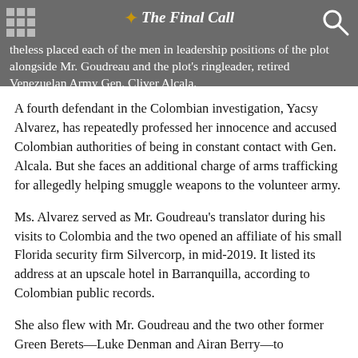theless placed each of the men in leadership positions of the plot alongside Mr. Goudreau and the plot's ringleader, retired Venezuelan Army Gen. Cliver Alcala. — The Final Call
A fourth defendant in the Colombian investigation, Yacsy Alvarez, has repeatedly professed her innocence and accused Colombian authorities of being in constant contact with Gen. Alcala. But she faces an additional charge of arms trafficking for allegedly helping smuggle weapons to the volunteer army.
Ms. Alvarez served as Mr. Goudreau's translator during his visits to Colombia and the two opened an affiliate of his small Florida security firm Silvercorp, in mid-2019. It listed its address at an upscale hotel in Barranquilla, according to Colombian public records.
She also flew with Mr. Goudreau and the two other former Green Berets—Luke Denman and Airan Berry—to Barranquilla aboard a Cessna jet belonging to her boss, businessman Franklin Duran, who has a long history of deal-making with the Venezuelan government